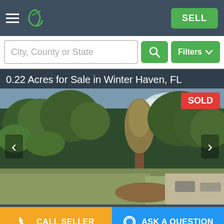SELL
City, County or State
0.22 Acres for Sale in Winter Haven, FL
[Figure (photo): Outdoor photo of a wooded lot with tall pine trees and greenery, showing a vacant land parcel for sale in Winter Haven, FL. A red SOLD badge appears in the top right corner. Navigation arrows are visible on the left and right sides.]
CALL SELLER
ASK A QUESTION